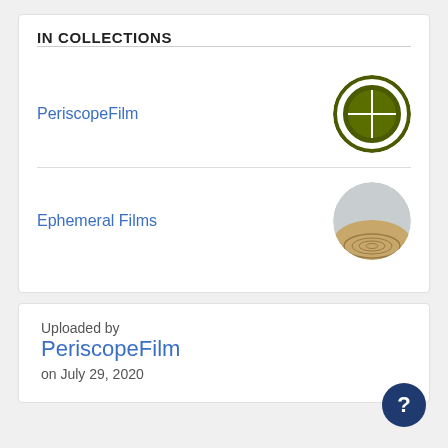IN COLLECTIONS
PeriscopeFilm
Ephemeral Films
Uploaded by
PeriscopeFilm
on July 29, 2020